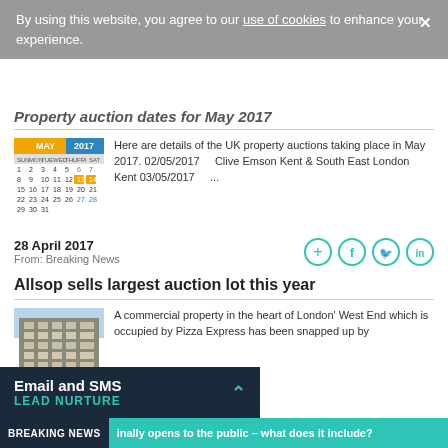By using this website, you agree to our use of cookies to enhance your experience.
Property auction dates for May 2017
[Figure (other): May 2017 calendar thumbnail showing dates 1-31]
Here are details of the UK property auctions taking place in May 2017. 02/05/2017  Clive Emson Kent & South East London  Kent 03/05/2017  ...
28 April 2017
From: Breaking News
[Figure (other): Social sharing icons: add, Facebook, Twitter, LinkedIn]
Allsop sells largest auction lot this year
[Figure (photo): Photo of a multi-storey brick commercial building in London's West End]
A commercial property in the heart of London' West End which is occupied by Pizza Express has been snapped up by
Email and SMS
LEAD NURTURE
BREAKING NEWS  inally opens to the public – what does it include?